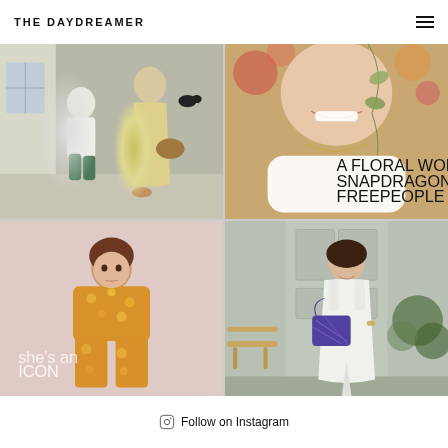THE DAYDREAMER
[Figure (photo): Woman in yellow dress and child in white shirt walking away from camera on a street, woman carrying a wicker basket]
[Figure (photo): Close-up of a smiling woman with a badge reading 'A FLORAL WORKSHOP WITH SNAPDRAGON X FREEPEOPLE']
[Figure (photo): Young girl in orange/yellow floral outfit standing against a pink background, with text 'she's an ICON' overlay]
[Figure (photo): Woman in white sleeveless midi dress holding a patterned bag, standing in front of a grey door with garden]
Follow on Instagram